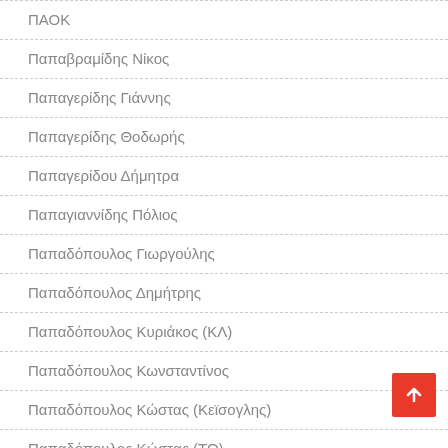ΠΑΟΚ
Παπαβραμίδης Νίκος
Παπαγερίδης Γιάννης
Παπαγερίδης Θοδωρής
Παπαγερίδου Δήμητρα
Παπαγιαννίδης Πόλιος
Παπαδόπουλος Γιωργούλης
Παπαδόπουλος Δημήτρης
Παπαδόπουλος Κυριάκος (ΚΛ)
Παπαδόπουλος Κωνσταντίνος
Παπαδόπουλος Κώστας (Κεϊσογλης)
Παπαδόπουλος Κώστας (ΤΟ)